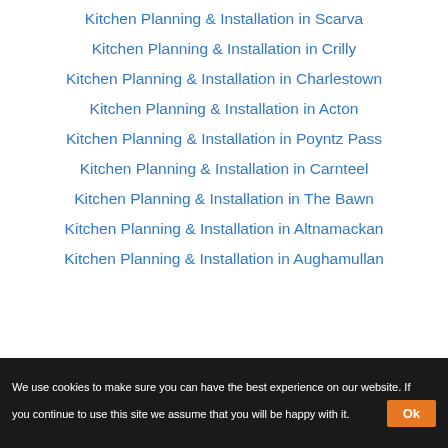Kitchen Planning & Installation in Scarva
Kitchen Planning & Installation in Crilly
Kitchen Planning & Installation in Charlestown
Kitchen Planning & Installation in Acton
Kitchen Planning & Installation in Poyntz Pass
Kitchen Planning & Installation in Carnteel
Kitchen Planning & Installation in The Bawn
Kitchen Planning & Installation in Altnamackan
Kitchen Planning & Installation in Aughamullan
We use cookies to make sure you can have the best experience on our website. If you continue to use this site we assume that you will be happy with it.